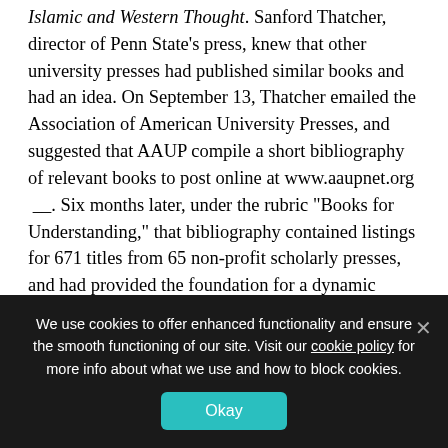Islamic and Western Thought. Sanford Thatcher, director of Penn State's press, knew that other university presses had published similar books and had an idea. On September 13, Thatcher emailed the Association of American University Presses, and suggested that AAUP compile a short bibliography of relevant books to post online at www.aaupnet.org __. Six months later, under the rubric “Books for Understanding,” that bibliography contained listings for 671 titles from 65 non-profit scholarly presses, and had provided the foundation for a dynamic permanent public information resource.
We use cookies to offer enhanced functionality and ensure the smooth functioning of our site. Visit our cookie policy for more info about what we use and how to block cookies.